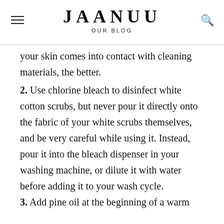JAANUU
OUR BLOG
your skin comes into contact with cleaning materials, the better.
2. Use chlorine bleach to disinfect white cotton scrubs, but never pour it directly onto the fabric of your white scrubs themselves, and be very careful while using it. Instead, pour it into the bleach dispenser in your washing machine, or dilute it with water before adding it to your wash cycle.
3. Add pine oil at the beginning of a warm